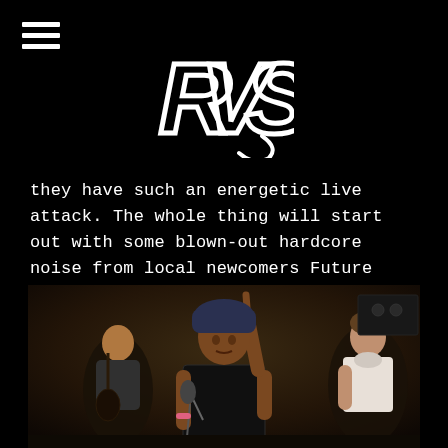RVS logo and navigation
they have such an energetic live attack. The whole thing will start out with some blown-out hardcore noise from local newcomers Future Terror — this one is sure to appeal to the Discharge fans among you. Kinda crazy to imagine all of this hectic noise happening in Flora's back room, but it's sure to be even crazier to see. You know what to do.
[Figure (photo): Live music photo showing a performer in a beanie hat holding a microphone with one finger raised, flanked by other musicians in a dimly lit venue]